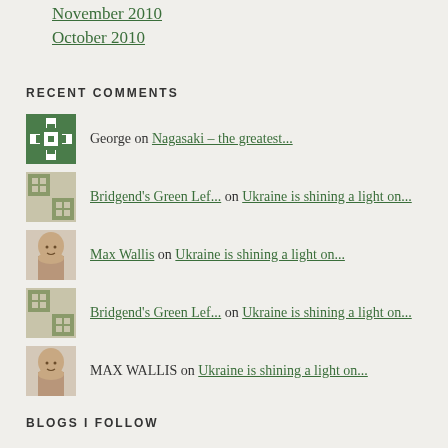November 2010
October 2010
RECENT COMMENTS
George on Nagasaki – the greatest...
Bridgend's Green Lef... on Ukraine is shining a light on...
Max Wallis on Ukraine is shining a light on...
Bridgend's Green Lef... on Ukraine is shining a light on...
MAX WALLIS on Ukraine is shining a light on...
BLOGS I FOLLOW